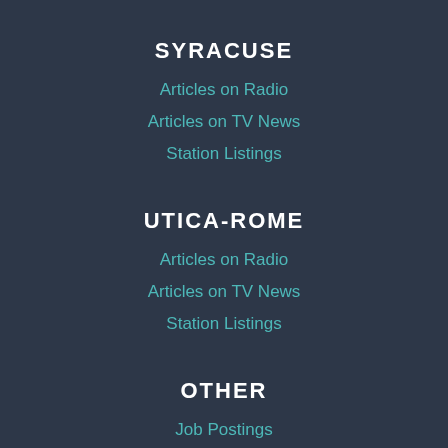SYRACUSE
Articles on Radio
Articles on TV News
Station Listings
UTICA-ROME
Articles on Radio
Articles on TV News
Station Listings
OTHER
Job Postings
Submit News Tips or Jobs